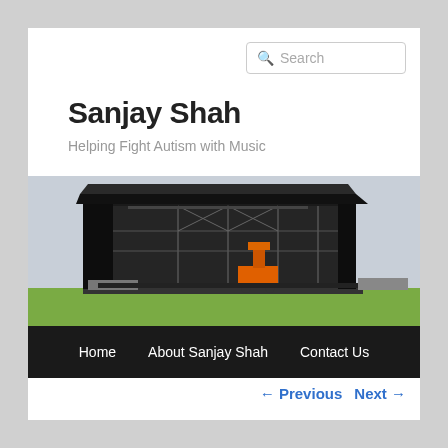Search
Sanjay Shah
Helping Fight Autism with Music
[Figure (photo): A large outdoor concert stage being set up, with a black roof structure, scaffolding, lighting rigs, and a cherry picker/boom lift in a field with green grass]
Home   About Sanjay Shah   Contact Us
← Previous   Next →